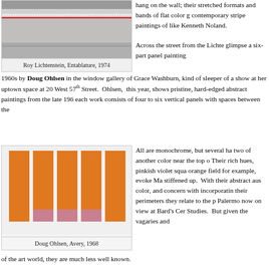[Figure (photo): Roy Lichtenstein Entablature artwork showing horizontal metal/architectural bands with striped pattern]
Roy Lichtenstein, Entablature, 1974
hang on the wall; their stretched formats and bands of flat color g contemporary stripe paintings of like Kenneth Noland.
Across the street from the Lichte glimpse a six-part panel painting 1960s by Doug Ohlsen in the window gallery of Grace Washburn, kind of sleeper of a show at her uptown space at 20 West 57th Street. Ohlsen, this year, shows pristine, hard-edged abstract paintings from the late 196 each work consists of four to six vertical panels with spaces between the
[Figure (photo): Doug Ohlsen Avery 1968 painting showing orange vertical panels with pinkish color squares at bottom]
Doug Ohlsen, Avery, 1968
All are monochrome, but several ha two of another color near the top o Their rich hues, pinkish violet squa orange field for example, evoke Ma stiffened up. With their abstract aus color, and concern with incorporatin their perimeters they relate to the p Palermo now on view at Bard's Cer Studies. But given the vagaries and of the art world, they are much less well known.